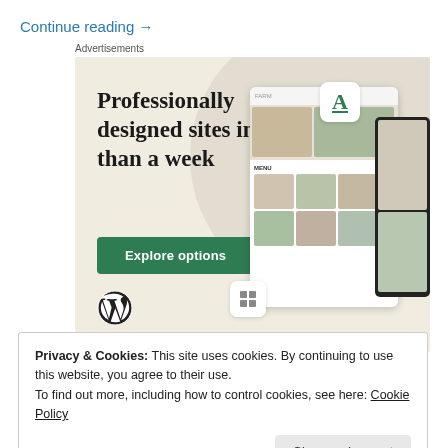Continue reading →
Advertisements
[Figure (screenshot): WordPress advertisement showing 'Professionally designed sites in less than a week' with an Explore options button, WordPress logo, and tablet/phone mockups showing a food website design on a beige background.]
Privacy & Cookies: This site uses cookies. By continuing to use this website, you agree to their use.
To find out more, including how to control cookies, see here: Cookie Policy
Close and accept